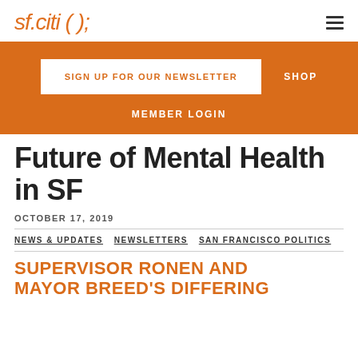sf.citi ( );
SIGN UP FOR OUR NEWSLETTER
SHOP
MEMBER LOGIN
Future of Mental Health in SF
OCTOBER 17, 2019
NEWS & UPDATES   NEWSLETTERS   SAN FRANCISCO POLITICS
SUPERVISOR RONEN AND MAYOR BREED'S DIFFERING